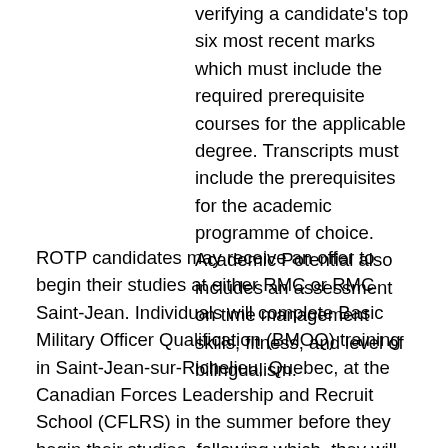verifying a candidate's top six most recent marks which must include the required prerequisite courses for the applicable degree. Transcripts must include the prerequisites for the academic programme of choice. Academic Potential also includes an assessment on time management skills, fitness, and level of bilingualism.
ROTP candidates may receive an offer to begin their studies at either RMC or RMC Saint-Jean. Individuals will complete Basic Military Officer Qualification (BMOQ) training in Saint-Jean-sur-Richelieu, Quebec, at the Canadian Forces Leadership and Recruit School (CFLRS) in the summer before they begin their studies, following which, they will start at one of the two Colleges. Following a successful first year, students will choose their area of study (Mechanical Engineering, Physics, History, etc). All Social